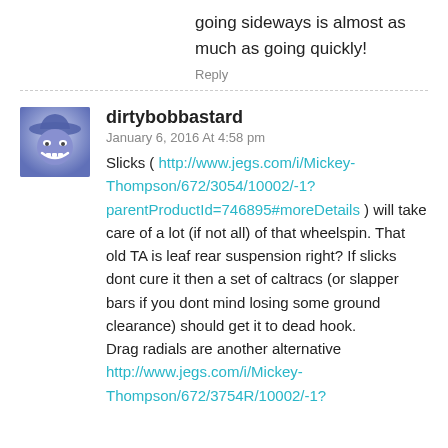going sideways is almost as much as going quickly!
Reply
dirtybobbastard
January 6, 2016 At 4:58 pm
Slicks ( http://www.jegs.com/i/Mickey-Thompson/672/3054/10002/-1?parentProductId=746895#moreDetails ) will take care of a lot (if not all) of that wheelspin. That old TA is leaf rear suspension right? If slicks dont cure it then a set of caltracs (or slapper bars if you dont mind losing some ground clearance) should get it to dead hook.
Drag radials are another alternative
http://www.jegs.com/i/Mickey-Thompson/672/3754R/10002/-1?